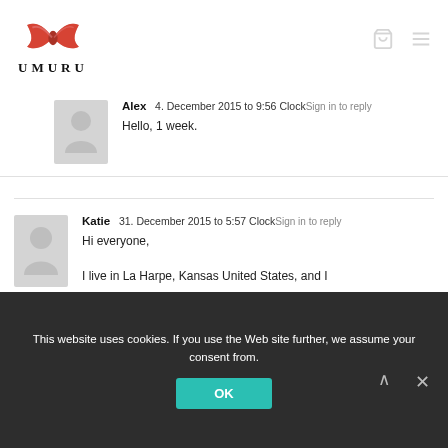[Figure (logo): UMURU brand logo with red bow tie illustration and stylized text UMURU]
Alex  4. December 2015 to 9:56 ClockSign in to reply

Hello, 1 week.
Katie  31. December 2015 to 5:57 ClockSign in to reply

Hi everyone,

I live in La Harpe, Kansas United States, and I ordered chalk December 30th, and was
This website uses cookies. If you use the Web site further, we assume your consent from.